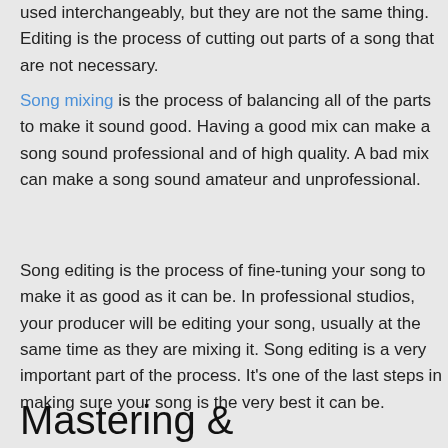used interchangeably, but they are not the same thing. Editing is the process of cutting out parts of a song that are not necessary.
Song mixing is the process of balancing all of the parts to make it sound good. Having a good mix can make a song sound professional and of high quality. A bad mix can make a song sound amateur and unprofessional.
Song editing is the process of fine-tuning your song to make it as good as it can be. In professional studios, your producer will be editing your song, usually at the same time as they are mixing it. Song editing is a very important part of the process. It's one of the last steps in making sure your song is the very best it can be.
Mastering & Distribution